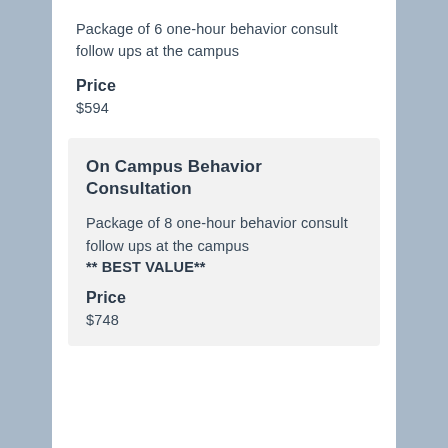Package of 6 one-hour behavior consult follow ups at the campus
Price
$594
On Campus Behavior Consultation
Package of 8 one-hour behavior consult follow ups at the campus ** BEST VALUE**
Price
$748